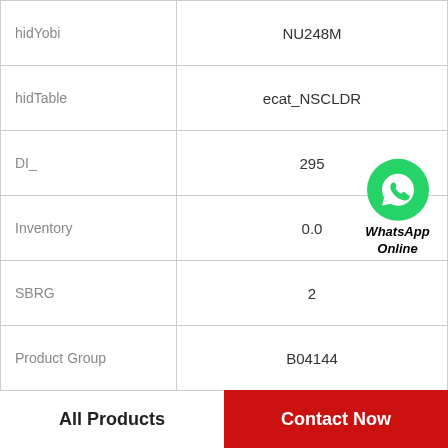| Field | Value |
| --- | --- |
| hidYobi | NU248M |
| hidTable | ecat_NSCLDR |
| DI_ | 295 |
| Inventory | 0.0 |
| SBRG | 2 |
| Product Group | B04144 |
| C0 | 1340 |
| C_conv | 935000 |
[Figure (logo): WhatsApp Online green circle icon with phone handset, with text 'WhatsApp Online' in bold italic below]
All Products
Contact Now